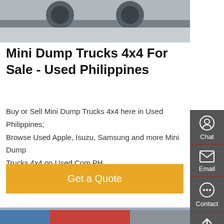[Figure (photo): Partial view of a truck/vehicle undercarriage or wheels on concrete ground, grayscale-toned background.]
Mini Dump Trucks 4x4 For Sale - Used Philippines
Buy or Sell Mini Dump Trucks 4x4 here in Used Philippines; Browse Used Apple, Isuzu, Samsung and more Mini Dump Trucks 4x4 on Used.Com.PH
Get a Quote
[Figure (photo): A red large Chinese truck (SINOTRUK/similar brand) parked in a commercial truck lot, with other white trucks and signage in the background.]